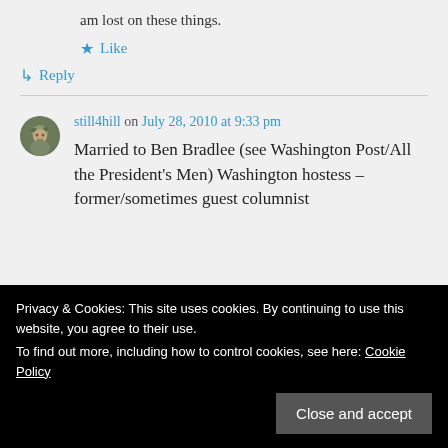am lost on these things.
★ Like
↳ Reply
still4hill on July 28, 2010 at 9:33 pm
Married to Ben Bradlee (see Washington Post/All the President's Men) Washington hostess – former/sometimes guest columnist
Privacy & Cookies: This site uses cookies. By continuing to use this website, you agree to their use.
To find out more, including how to control cookies, see here: Cookie Policy
Close and accept